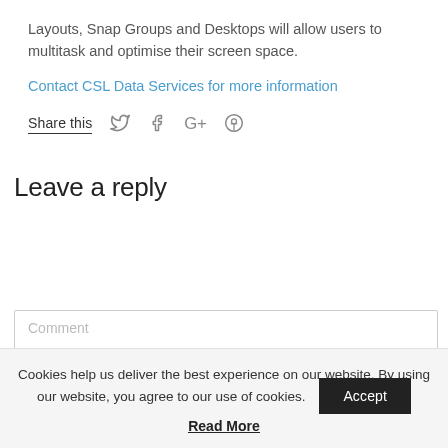Layouts, Snap Groups and Desktops will allow users to multitask and optimise their screen space.
Contact CSL Data Services for more information
Share this
Leave a reply
Comment
Cookies help us deliver the best experience on our website. By using our website, you agree to our use of cookies.
Accept
Read More